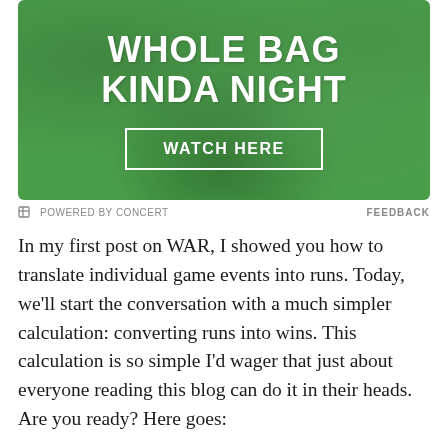[Figure (advertisement): Green textured advertisement banner with white bold text reading 'WHOLE BAG KINDA NIGHT' and a 'WATCH HERE' button with white border]
⊟ POWERED BY CONCERT    FEEDBACK
In my first post on WAR, I showed you how to translate individual game events into runs. Today, we'll start the conversation with a much simpler calculation: converting runs into wins. This calculation is so simple I'd wager that just about everyone reading this blog can do it in their heads. Are you ready? Here goes:
Wins = Runs/10. (Hah! I screwed this up originally! I guess it isn't that easy. Thanks for the correction, false